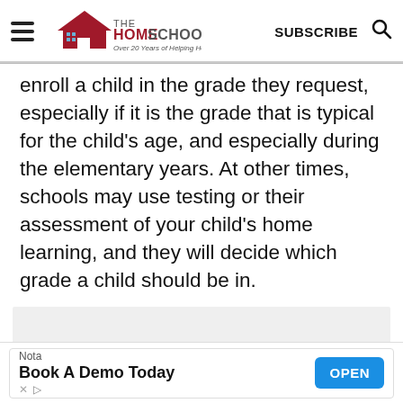THE HOMESCHOOL MOM — Over 20 Years of Helping Homeschoolers! | SUBSCRIBE
enroll a child in the grade they request, especially if it is the grade that is typical for the child's age, and especially during the elementary years. At other times, schools may use testing or their assessment of your child's home learning, and they will decide which grade a child should be in.
[Figure (other): Gray advertisement placeholder box]
Nota — Book A Demo Today | OPEN